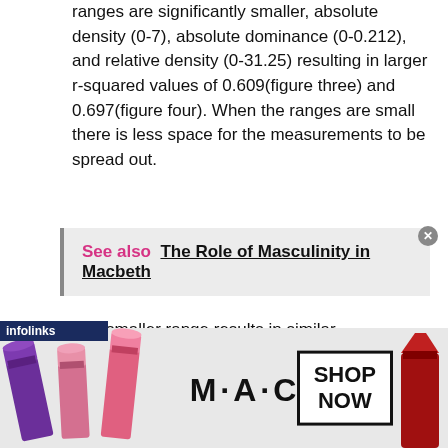ranges are significantly smaller, absolute density (0-7), absolute dominance (0-0.212), and relative density (0-31.25) resulting in larger r-squared values of 0.609(figure three) and 0.697(figure four). When the ranges are small there is less space for the measurements to be spread out.
See also  The Role of Masculinity in Macbeth
The smaller range results in similar measurements and less room for variation, resulting in a tighter fit line and greater R-squared value. The abundance measurement to use when estimating the success of Hemlock seedling establishment and survival in a forest would be abundance measure of the dominance of
[Figure (photo): Advertisement banner for M·A·C cosmetics showing lipsticks in purple, pink, and red with 'SHOP NOW' button and infolinks label]